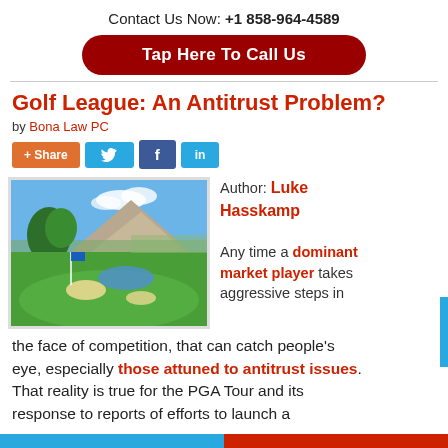Contact Us Now: +1 858-964-4589
Tap Here To Call Us
Golf League: An Antitrust Problem?
by Bona Law PC
[Figure (photo): Golf course with green fairway, white flag, pond, tree, and mountain in background under blue sky]
Author: Luke Hasskamp

Any time a dominant market player takes aggressive steps in the face of competition, that can catch people's eye, especially those attuned to antitrust issues. That reality is true for the PGA Tour and its response to reports of efforts to launch a